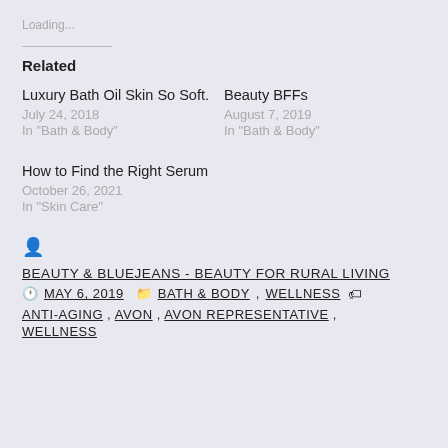Loading...
Related
Luxury Bath Oil Skin So Soft.
July 24, 2018
In "Bath & Body"
Beauty BFFs
August 7, 2019
In "Bath & Body"
How to Find the Right Serum
October 26, 2021
In "Skin Care"
BEAUTY & BLUEJEANS - BEAUTY FOR RURAL LIVING
MAY 6, 2019   BATH & BODY, WELLNESS
ANTI-AGING, AVON, AVON REPRESENTATIVE, WELLNESS